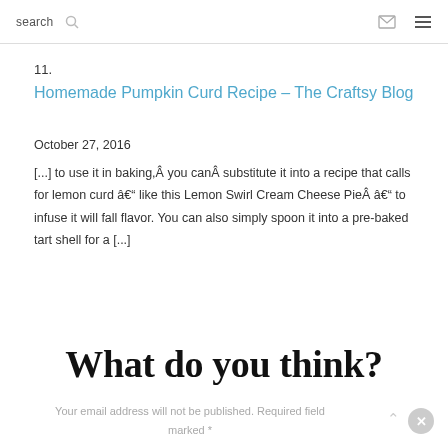search
11.
Homemade Pumpkin Curd Recipe – The Craftsy Blog
October 27, 2016
[...] to use it in baking,Â you canÂ substitute it into a recipe that calls for lemon curd â€“ like this Lemon Swirl Cream Cheese PieÂ â€“ to infuse it will fall flavor. You can also simply spoon it into a pre-baked tart shell for a [...]
What do you think?
Your email address will not be published. Required fields marked *